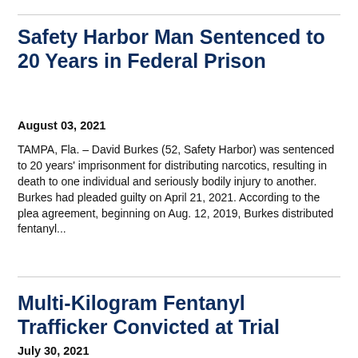Safety Harbor Man Sentenced to 20 Years in Federal Prison
August 03, 2021
TAMPA, Fla. – David Burkes (52, Safety Harbor) was sentenced to 20 years' imprisonment for distributing narcotics, resulting in death to one individual and seriously bodily injury to another. Burkes had pleaded guilty on April 21, 2021. According to the plea agreement, beginning on Aug. 12, 2019, Burkes distributed fentanyl...
Multi-Kilogram Fentanyl Trafficker Convicted at Trial
July 30, 2021